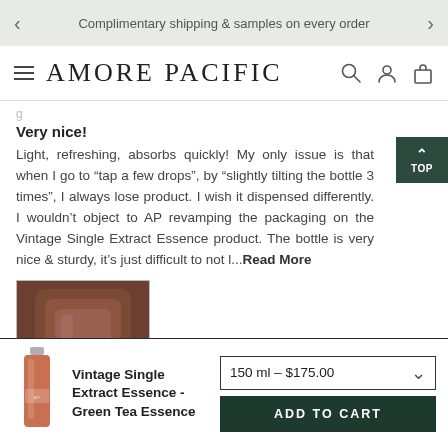Complimentary shipping & samples on every order
AMORE PACIFIC
g
Very nice!
Light, refreshing, absorbs quickly! My only issue is that when I go to "tap a few drops", by "slightly tilting the bottle 3 times", I always lose product. I wish it dispensed differently. I wouldn't object to AP revamping the packaging on the Vintage Single Extract Essence product. The bottle is very nice & sturdy, it's just difficult to not l...Read More
[Figure (photo): Product photo showing a dark brown bottle of Amore Pacific Vintage Single Extract Essence]
Vintage Single Extract Essence - Green Tea Essence | 150 ml – $175.00 | ADD TO CART